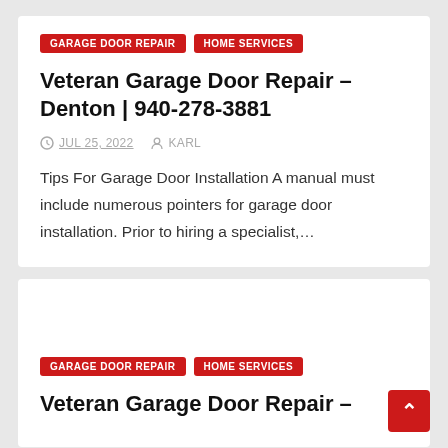GARAGE DOOR REPAIR
HOME SERVICES
Veteran Garage Door Repair – Denton | 940-278-3881
JUL 25, 2022   KARL
Tips For Garage Door Installation A manual must include numerous pointers for garage door installation. Prior to hiring a specialist,…
GARAGE DOOR REPAIR
HOME SERVICES
Veteran Garage Door Repair –